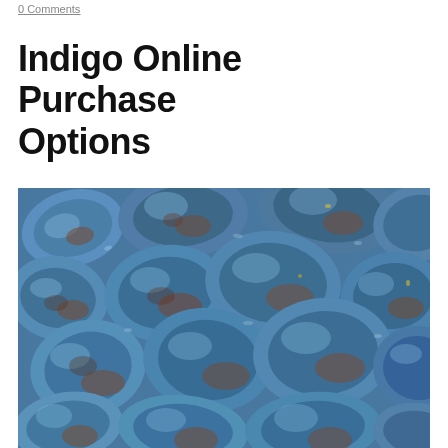0 Comments
Indigo Online Purchase Options
[Figure (photo): Close-up photograph of rough indigo mineral rocks/stones with blue-purple coloring and reddish-brown oxidized surfaces, densely packed together filling the entire frame.]